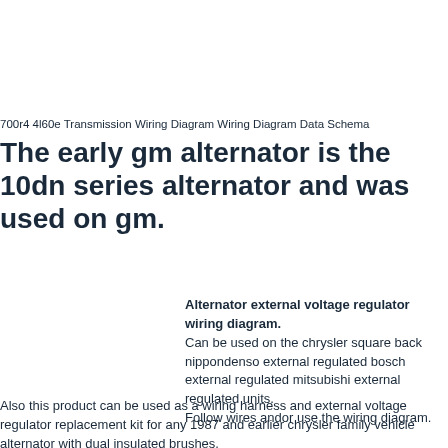700r4 4l60e Transmission Wiring Diagram Wiring Diagram Data Schema
The early gm alternator is the 10dn series alternator and was used on gm.
Alternator external voltage regulator wiring diagram. Can be used on the chrysler square back nippondenso external regulated bosch external regulated mitsubishi external regulated units. Follow wires andor use the wiring diagram.
Also this product can be used as a wiring harness and external voltage regulator replacement kit for any 1987 and earlier chrysler family vehicle alternator with dual insulated brushes.